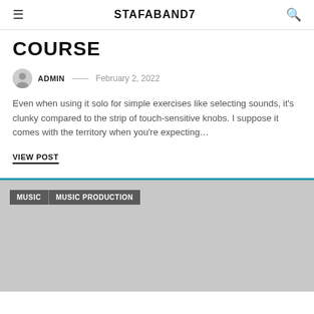STAFABAND7
COURSE
ADMIN — February 2, 2022
Even when using it solo for simple exercises like selecting sounds, it's clunky compared to the strip of touch-sensitive knobs. I suppose it comes with the territory when you're expecting…
VIEW POST
[Figure (photo): Gray placeholder image card with teal top border and two dark category tags labeled MUSIC and MUSIC PRODUCTION]